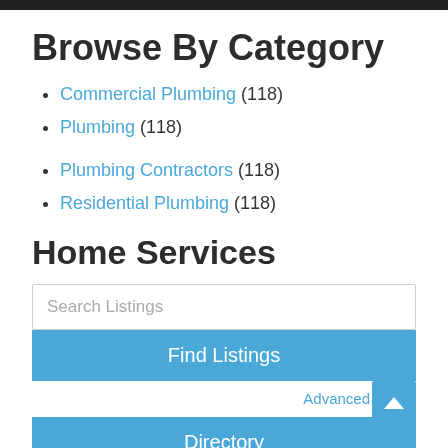Browse By Category
Commercial Plumbing (118)
Plumbing (118)
Plumbing Contractors (118)
Residential Plumbing (118)
Home Services
Search Listings
Find Listings
Advanced
Directory